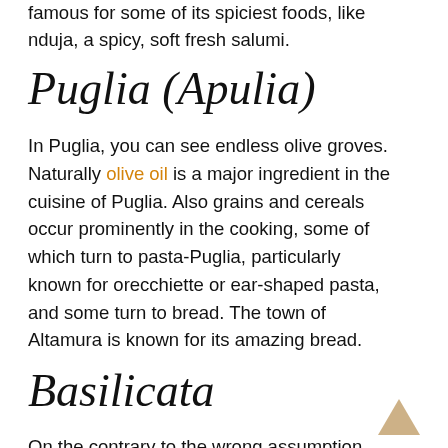famous for some of its spiciest foods, like nduja, a spicy, soft fresh salumi.
Puglia (Apulia)
In Puglia, you can see endless olive groves. Naturally olive oil is a major ingredient in the cuisine of Puglia. Also grains and cereals occur prominently in the cooking, some of which turn to pasta-Puglia, particularly known for orecchiette or ear-shaped pasta, and some turn to bread. The town of Altamura is known for its amazing bread.
Basilicata
On the contrary to the wrong assumption that seafood may be the main ingredient in the Basilicata cuisine, the cuisine actually contains fresh meats and seasonal vegetables. The reason for this is that though the region